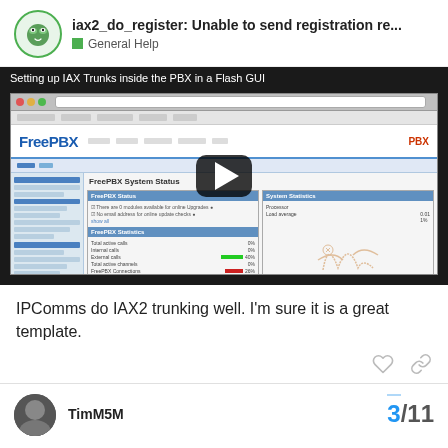iax2_do_register: Unable to send registration re... — General Help
[Figure (screenshot): Video thumbnail showing FreePBX System Status screen inside a web browser, with a play button overlay. Title reads: Setting up IAX Trunks inside the PBX in a Flash GUI]
IPComms do IAX2 trunking well. I'm sure it is a great template.
TimM5M
3 / 11